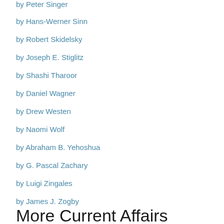by Peter Singer
by Hans-Werner Sinn
by Robert Skidelsky
by Joseph E. Stiglitz
by Shashi Tharoor
by Daniel Wagner
by Drew Westen
by Naomi Wolf
by Abraham B. Yehoshua
by G. Pascal Zachary
by Luigi Zingales
by James J. Zogby
More Current Affairs